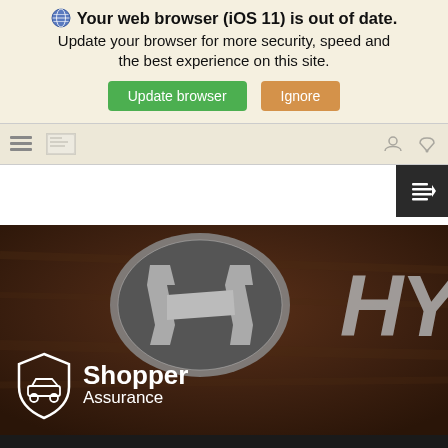Your web browser (iOS 11) is out of date. Update your browser for more security, speed and the best experience on this site.
[Figure (screenshot): Browser update warning banner with Update browser (green) and Ignore (orange) buttons]
[Figure (photo): Hyundai logo badge on dark brown background with Shopper Assurance logo overlay and HY text on right side]
Hyundai makes car shopping simple-
Search  Saved  Share  Contact